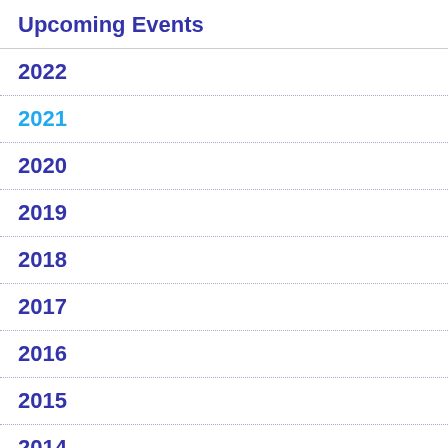Upcoming Events
2022
2021
2020
2019
2018
2017
2016
2015
2014
2013
2012